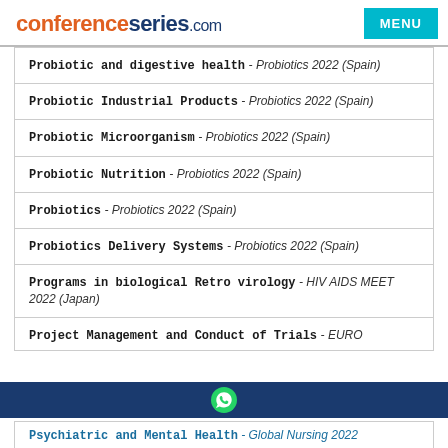conferenceseries.com | MENU
Probiotic and digestive health - Probiotics 2022 (Spain)
Probiotic Industrial Products - Probiotics 2022 (Spain)
Probiotic Microorganism - Probiotics 2022 (Spain)
Probiotic Nutrition - Probiotics 2022 (Spain)
Probiotics - Probiotics 2022 (Spain)
Probiotics Delivery Systems - Probiotics 2022 (Spain)
Programs in biological Retro virology - HIV AIDS MEET 2022 (Japan)
Project Management and Conduct of Trials - EURO
Psychiatric and Mental Health - Global Nursing 2022